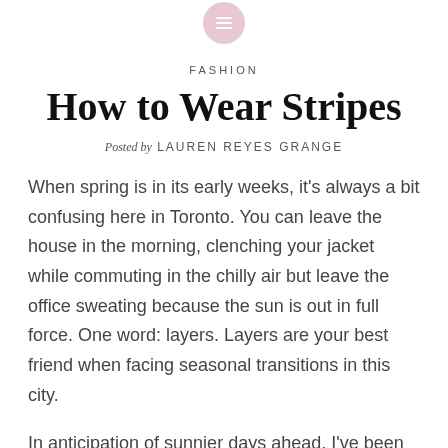[Figure (illustration): Small circular icon with pink/mauve background and three white horizontal lines (list/menu icon) at the top center of the page]
FASHION
How to Wear Stripes
Posted by LAUREN REYES GRANGE
When spring is in its early weeks, it’s always a bit confusing here in Toronto. You can leave the house in the morning, clenching your jacket while commuting in the chilly air but leave the office sweating because the sun is out in full force. One word: layers. Layers are your best friend when facing seasonal transitions in this city.
In anticipation of sunnier days ahead, I’ve been pinning